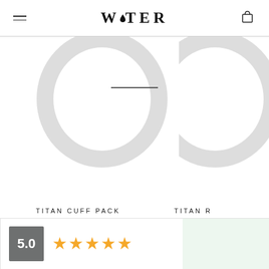WATER
[Figure (photo): Product image area showing TITAN CUFF PACK jewelry rings on white background with decorative ghost ring outlines]
TITAN CUFF PACK
$156  $188
[Figure (other): Review section showing 5.0 rating with 5 gold stars and a light green panel on the right]